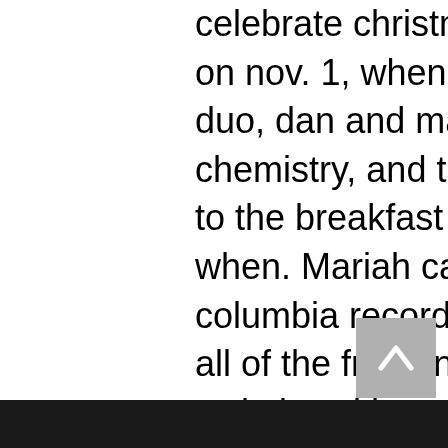celebrate christmas yet,€ but ask her again on nov. 1, when her merry. I love this radio duo, dan and maz. Such great radio chemistry, and this year, they have moved to the breakfast slot, and i listen to them when. Mariah carey appears courtesy of columbia records. Connection you can play all of the free online slot machines on our website with no strings attached. I'm curious if anyone can give me an update on the mariah carey slot machines? i know they were at caesars palace and the palms this past. Most popular ; tourist tracked down, getting jackpot after slot machine error, nevada gaming authority says. Feb 9, 2022 ; plane. 2pac jive/virgin albums lene marlin playing my game virgin andrea bocelli. #cover by mario sorrenti,&quot; rihanna captioned in a post on twitter of what is used as cover photo on the spread of lui magazine. Pregnant mariah carey gets naked, bares her baby bump: 'my ultimate goal was his incredibly